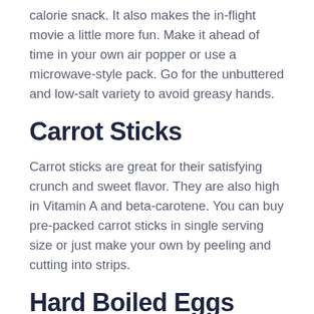calorie snack. It also makes the in-flight movie a little more fun. Make it ahead of time in your own air popper or use a microwave-style pack. Go for the unbuttered and low-salt variety to avoid greasy hands.
Carrot Sticks
Carrot sticks are great for their satisfying crunch and sweet flavor. They are also high in Vitamin A and beta-carotene. You can buy pre-packed carrot sticks in single serving size or just make your own by peeling and cutting into strips.
Hard Boiled Eggs
Eggs provide a good boost of protein and can be very portable in a hard-boiled form. Boil...